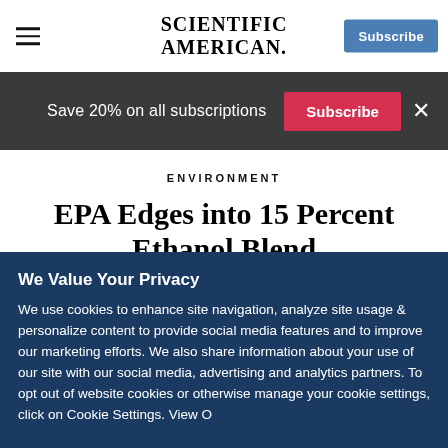SCIENTIFIC AMERICAN
Save 20% on all subscriptions
ENVIRONMENT
EPA Edges into 15 Percent Ethanol Blend
We Value Your Privacy
We use cookies to enhance site navigation, analyze site usage & personalize content to provide social media features and to improve our marketing efforts. We also share information about your use of our site with our social media, advertising and analytics partners. To opt out of website cookies or otherwise manage your cookie settings, click on Cookie Settings. View Our